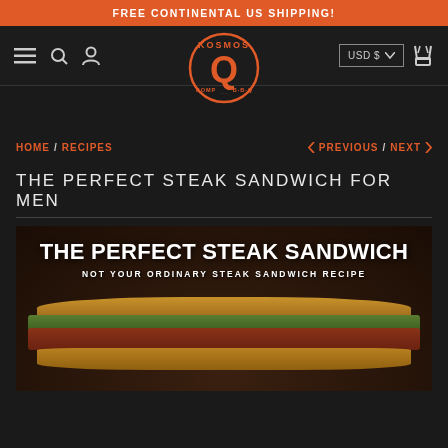FREE CONTINENTAL US SHIPPING!
[Figure (logo): Kosmos Q Comp BBQ logo in orange circle with Q letter]
HOME / RECIPES    < PREVIOUS / NEXT >
THE PERFECT STEAK SANDWICH FOR MEN
[Figure (photo): Photo of a steak sandwich with text overlay: THE PERFECT STEAK SANDWICH, NOT YOUR ORDINARY STEAK SANDWICH RECIPE]